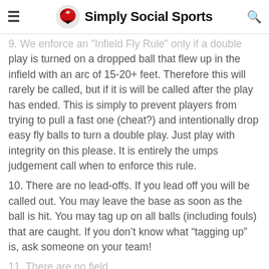Simply Social Sports
9. We enforce an "Infield Fly Rule" only if a double play is turned on a dropped ball that flew up in the infield with an arc of 15-20+ feet. Therefore this will rarely be called, but if it is will be called after the play has ended. This is simply to prevent players from trying to pull a fast one (cheat?) and intentionally drop easy fly balls to turn a double play. Just play with integrity on this please. It is entirely the umps judgement call when to enforce this rule.
10. There are no lead-offs. If you lead off you will be called out. You may leave the base as soon as the ball is hit. You may tag up on all balls (including fouls) that are caught. If you don’t know what “tagging up” is, ask someone on your team!
11. There are no field...